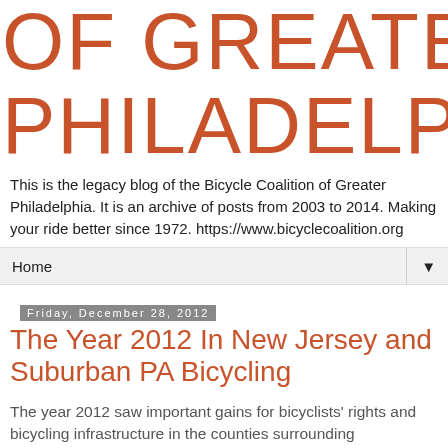OF GREATER PHILADELPHIA
This is the legacy blog of the Bicycle Coalition of Greater Philadelphia. It is an archive of posts from 2003 to 2014. Making your ride better since 1972. https://www.bicyclecoalition.org
Home
Friday, December 28, 2012
The Year 2012 In New Jersey and Suburban PA Bicycling
The year 2012 saw important gains for bicyclists' rights and bicycling infrastructure in the counties surrounding